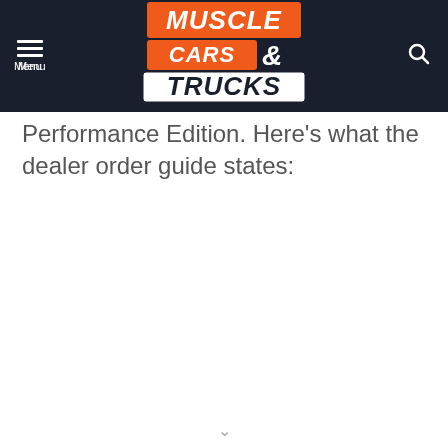Muscle Cars & Trucks — Menu / Search header
Performance Edition. Here's what the dealer order guide states: